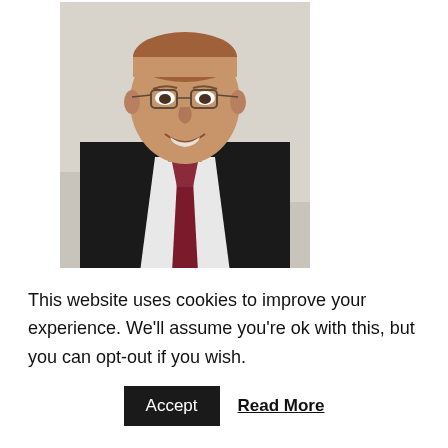[Figure (photo): A man wearing glasses, a black suit jacket, white dress shirt, and dark red/maroon tie, seated and smiling, photographed from the chest up against a light background.]
In this conversation, Dr Steven Greer discusses the importance of meditation and higher consciousness.
This website uses cookies to improve your experience. We'll assume you're ok with this, but you can opt-out if you wish.
Accept  Read More